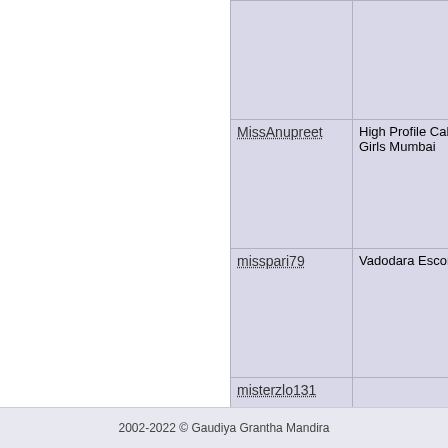| Username | Content |
| --- | --- |
|  |  |
| MissAnupreet | High Profile Call Girls Mumbai |
| misspari79 | Vadodara Escorts |
| misterzlo131 |  |
Go to page: 1 2 3 4 5 6 7 8 9 ... 24 25 26 27 28 29 30 31 32 ... 47 48 49 50 51 52 53 54 55 ... 70 71 72 73 74 75 76 77 78 ... 93 94 95 96 97 98 99 100 10...
2002-2022 © Gaudiya Grantha Mandira